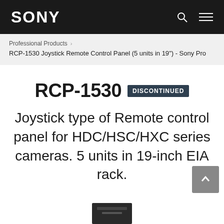SONY
Professional Products > RCP-1530 Joystick Remote Control Panel (5 units in 19") - Sony Pro
RCP-1530 DISCONTINUED
Joystick type of Remote control panel for HDC/HSC/HXC series cameras. 5 units in 19-inch EIA rack.
[Figure (photo): Partial view of RCP-1530 product at bottom of page]